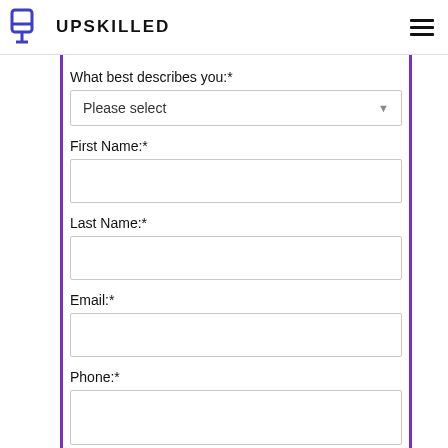UPSKILLED
What best describes you:*
Please select
First Name:*
Last Name:*
Email:*
Phone:*